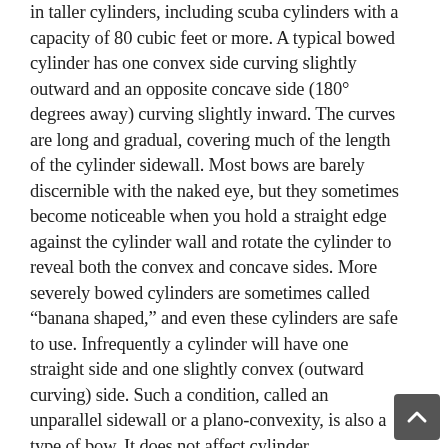in taller cylinders, including scuba cylinders with a capacity of 80 cubic feet or more. A typical bowed cylinder has one convex side curving slightly outward and an opposite concave side (180° degrees away) curving slightly inward. The curves are long and gradual, covering much of the length of the cylinder sidewall. Most bows are barely discernible with the naked eye, but they sometimes become noticeable when you hold a straight edge against the cylinder wall and rotate the cylinder to reveal both the convex and concave sides. More severely bowed cylinders are sometimes called “banana shaped,” and even these cylinders are safe to use. Infrequently a cylinder will have one straight side and one slightly convex (outward curving) side. Such a condition, called an unparallel sidewall or a plano-convexity, is also a type of bow. It does not affect cylinder performance. Inspectors should be careful not to misidentify the harmless, slightly convex side of a bowed cylinder as a bulge, which is completely different and a very rare condition.